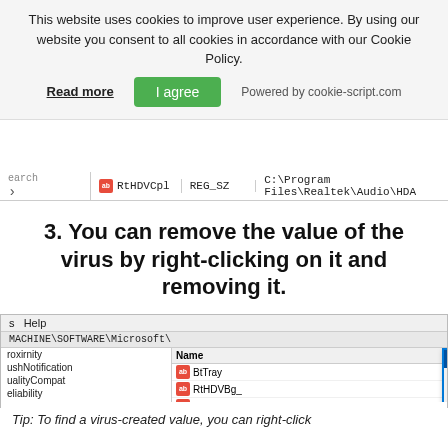This website uses cookies to improve user experience. By using our website you consent to all cookies in accordance with our Cookie Policy.
Read more   I agree   Powered by cookie-script.com
[Figure (screenshot): Windows Registry Editor row showing RtHDVCpl REG_SZ C:\Program Files\Realtek\Audio\HDA]
3. You can remove the value of the virus by right-clicking on it and removing it.
[Figure (screenshot): Windows Registry Editor screenshot showing Edit String dialog. Left panel shows registry keys: roxirnity, ushNotification, ualityCompat, eliability, empl, etailDemo, un, unOnce, earch. Right panel shows Name column with BtTray, RtHDVBg, RtHDVBg, RtHDVBg, RtHDVCpl, RtsFT, SecurityHea..., SynTPEnh. Edit String dialog shows Value name: RtHDVBg_Dolby, Value data: 'C:\Program Files\Realtek\Audio\HDA\RAVBg64.exe' /FORPCEE4, with OK and Cancel buttons.]
Tip: To find a virus-created value, you can right-click